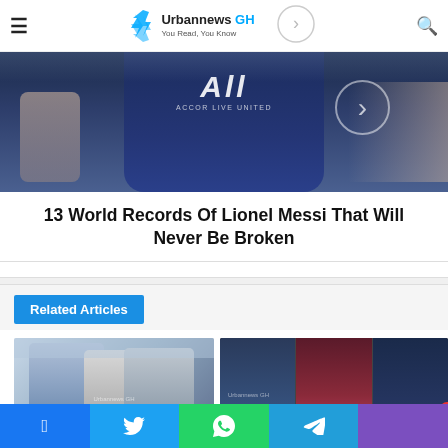Urbannews GH — You Read, You Know
[Figure (photo): Football player in PSG dark blue jersey with 'All ACCOR LIVE LIMITED' text, arms visible, action pose]
13 World Records Of Lionel Messi That Will Never Be Broken
Related Articles
[Figure (photo): Two football players shaking hands / greeting on a pitch with crowd in background, Urbannews GH watermark]
[Figure (photo): Three panels: Ajax player, Barcelona player, Chelsea player with Spotify badge and notification bell overlay]
Facebook | Twitter | WhatsApp | Telegram